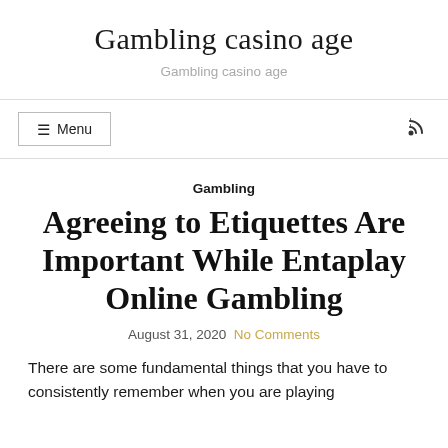Gambling casino age
Gambling casino age
☰ Menu
Gambling
Agreeing to Etiquettes Are Important While Entaplay Online Gambling
August 31, 2020  No Comments
There are some fundamental things that you have to consistently remember when you are playing